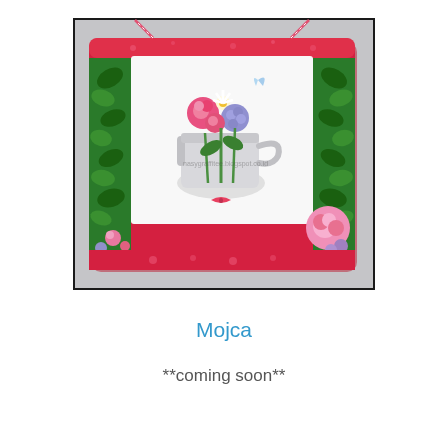[Figure (photo): A decorative floral hanging sign or plaque with a red/pink frame and a white watering can filled with colorful flowers (roses, daisies, hydrangeas). The frame has green floral patterns on the sides. Pink and white twine strings hang from the top. Additional pink ribbon flowers and paper flowers decorate the bottom corners. A small watermark text is visible in the center.]
Mojca
**coming soon**